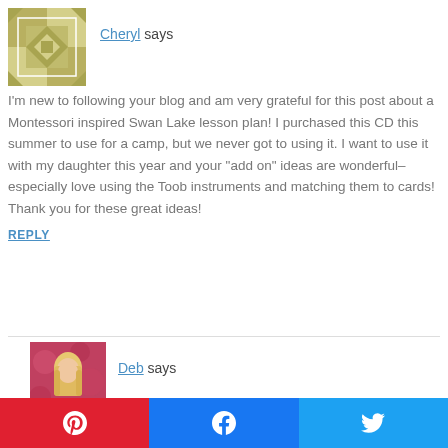Cheryl says
I'm new to following your blog and am very grateful for this post about a Montessori inspired Swan Lake lesson plan! I purchased this CD this summer to use for a camp, but we never got to using it. I want to use it with my daughter this year and your "add on" ideas are wonderful–especially love using the Toob instruments and matching them to cards! Thank you for these great ideas!
REPLY
Deb says
Thanks so much for your kind words